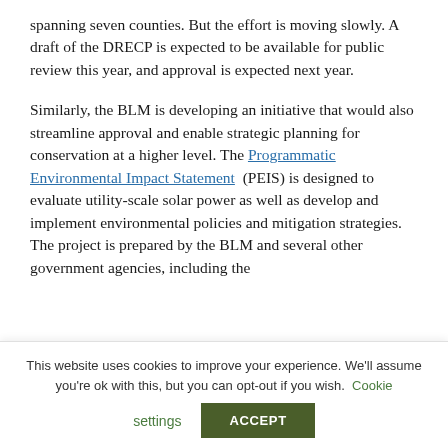spanning seven counties. But the effort is moving slowly. A draft of the DRECP is expected to be available for public review this year, and approval is expected next year.
Similarly, the BLM is developing an initiative that would also streamline approval and enable strategic planning for conservation at a higher level. The Programmatic Environmental Impact Statement (PEIS) is designed to evaluate utility-scale solar power as well as develop and implement environmental policies and mitigation strategies. The project is prepared by the BLM and several other government agencies, including the
This website uses cookies to improve your experience. We'll assume you're ok with this, but you can opt-out if you wish. Cookie settings ACCEPT